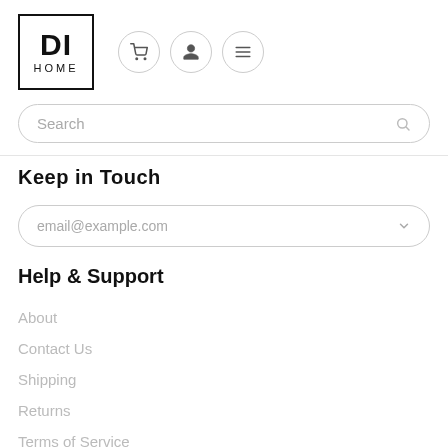[Figure (logo): DI HOME logo with bold DI text and HOME lettering below, inside a black border square, with three circular icon buttons (cart, user, menu) to the right]
Search
Keep in Touch
email@example.com
Help & Support
About
Contact Us
Shipping
Returns
Terms of Service
Currency